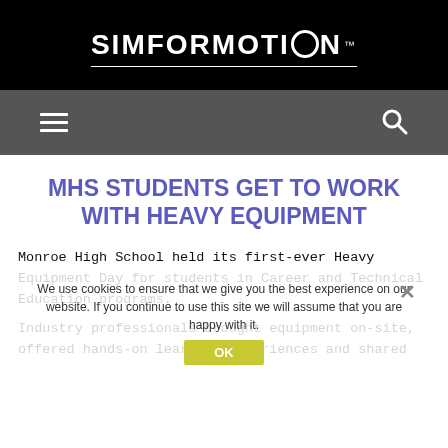[Figure (logo): Simformotion logo — white bold text on black background with circular O, trademark symbol, underline, and LLC text]
Navigation bar with hamburger menu icon and search icon on dark gray background
MHS STUDENTS GET TO WORK WITH HEAVY EQUIPMENT
Monroe High School held its first-ever Heavy Equipment Day for students in Career and Technical Education programs.
Industry professionals brought equipment on-site, offered hands-on learning experiences and shared
We use cookies to ensure that we give you the best experience on our website. If you continue to use this site we will assume that you are happy with it.